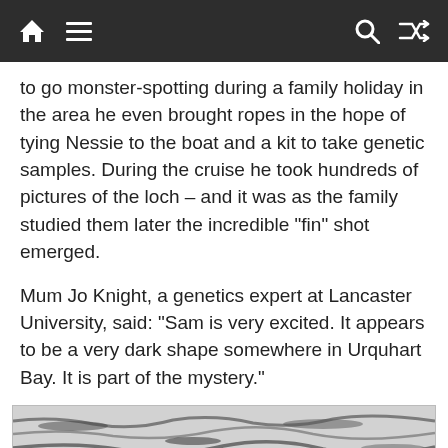[home] [menu] [search] [shuffle]
to go monster-spotting during a family holiday in the area he even brought ropes in the hope of tying Nessie to the boat and a kit to take genetic samples. During the cruise he took hundreds of pictures of the loch – and it was as the family studied them later the incredible “fin” shot emerged.
Mum Jo Knight, a genetics expert at Lancaster University, said: “Sam is very excited. It appears to be a very dark shape somewhere in Urquhart Bay. It is part of the mystery.”
[Figure (photo): Black and white photograph of the surface of Loch Ness showing rippling water with dark shapes visible.]